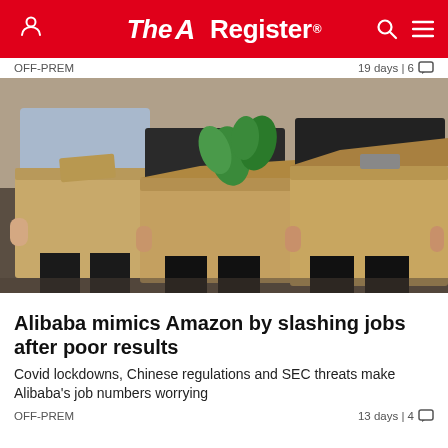The Register
OFF-PREM    19 days | 6
[Figure (photo): Three people in business attire carrying large cardboard boxes, viewed from the torso down, with green plant visible in one box.]
Alibaba mimics Amazon by slashing jobs after poor results
Covid lockdowns, Chinese regulations and SEC threats make Alibaba's job numbers worrying
OFF-PREM    13 days | 4